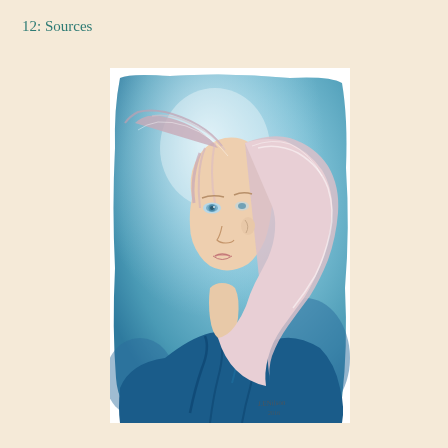12: Sources
[Figure (illustration): A watercolor portrait illustration of a young person with long windswept platinum/light blonde hair and blue eyes, wearing a dark blue garment. The background is a soft blue watercolor wash. There is a faint watermark/logo text in the upper right area of the illustration. Signed at the bottom right by the artist with a date (2016).]